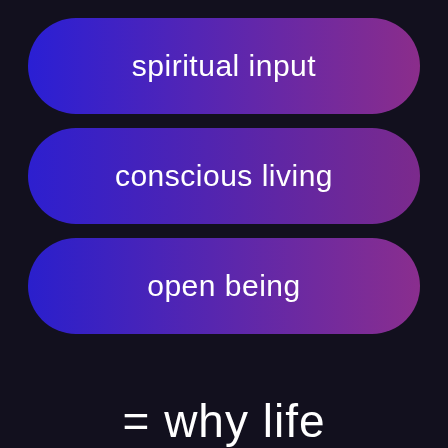spiritual input
conscious living
open being
= why life